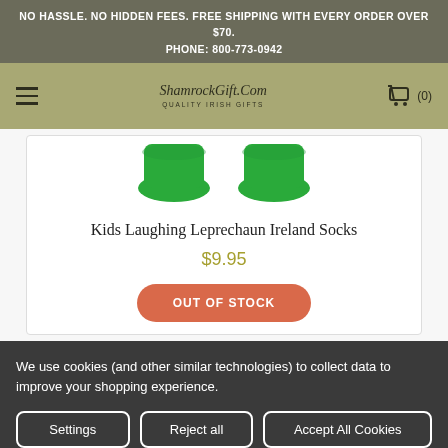NO HASSLE. NO HIDDEN FEES. FREE SHIPPING WITH EVERY ORDER OVER $70.
PHONE: 800-773-0942
[Figure (screenshot): Navigation bar with hamburger menu, ShamrockGift.Com logo and tagline 'QUALITY IRISH GIFTS', and shopping cart icon with (0) count]
[Figure (photo): Partial view of green shamrock/leprechaun socks showing green circular tops of two socks]
Kids Laughing Leprechaun Ireland Socks
$9.95
OUT OF STOCK
We use cookies (and other similar technologies) to collect data to improve your shopping experience.
Settings | Reject all | Accept All Cookies